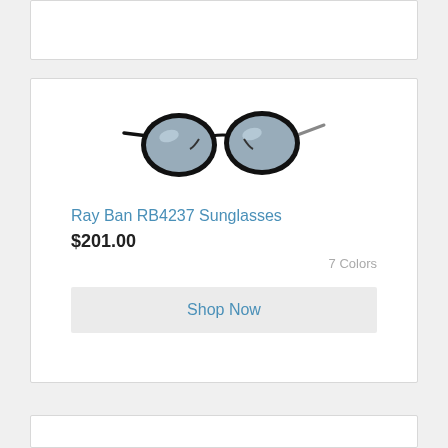[Figure (other): Partial top product card, cropped, white background with border]
[Figure (photo): Ray Ban RB4237 sunglasses with black round frames and silver-blue mirrored lenses, viewed from a front-angled perspective]
Ray Ban RB4237 Sunglasses
$201.00
7 Colors
Shop Now
[Figure (other): Partial bottom product card, cropped, white background with border]